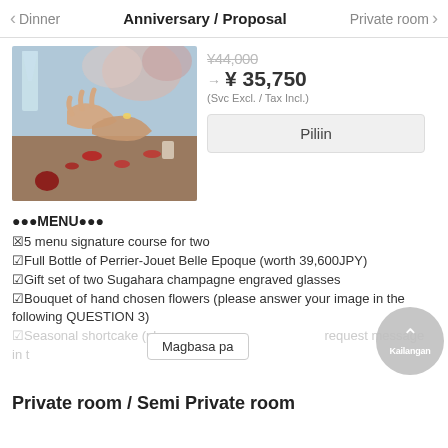< Dinner  Anniversary / Proposal  Private room >
[Figure (photo): Two hands over a table with rose petals, champagne glass and flowers in background]
¥44,000 → ¥ 35,750
(Svc Excl. / Tax Incl.)
Piliin
●●●MENU●●●
5 menu signature course for two
Full Bottle of Perrier-Jouet Belle Epoque (worth 39,600JPY)
Gift set of two Sugahara champagne engraved glasses
Bouquet of hand chosen flowers (please answer your image in the following QUESTION 3)
Seasonal shortcake (please ... request message in...
Magbasa pa
Private room / Semi Private room